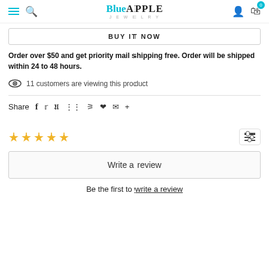Blue Apple Jewelry — navigation header with hamburger, search, logo, user, cart (0)
BUY IT NOW
Order over $50 and get priority mail shipping free. Order will be shipped within 24 to 48 hours.
11 customers are viewing this product
Share
[Figure (other): Five empty star rating icons in gold/yellow]
Write a review
Be the first to write a review